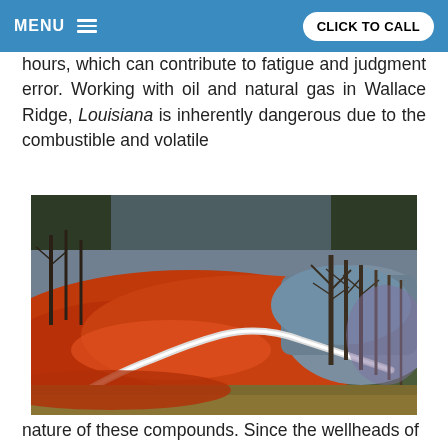MENU  CLICK TO CALL
hours, which can contribute to fatigue and judgment error. Working with oil and natural gas in Wallace Ridge, Louisiana is inherently dangerous due to the combustible and volatile
[Figure (photo): Aerial/ground-level photograph of a river or body of water heavily polluted with red/orange contamination, with bare winter trees on the bank and a road or pipeline running through the scene.]
nature of these compounds. Since the wellheads of